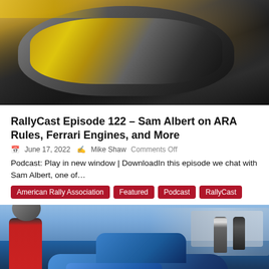[Figure (photo): Close-up photo of a rally driver's helmet visor with yellow/gold reflection, dark background]
RallyCast Episode 122 – Sam Albert on ARA Rules, Ferrari Engines, and More
June 17, 2022  Mike Shaw  Comments Off
Podcast: Play in new window | DownloadIn this episode we chat with Sam Albert, one of…
American Rally Association
Featured
Podcast
RallyCast
[Figure (photo): Photo of a rally driver in red suit standing next to a blue rally car with number 35, with crew members in background]